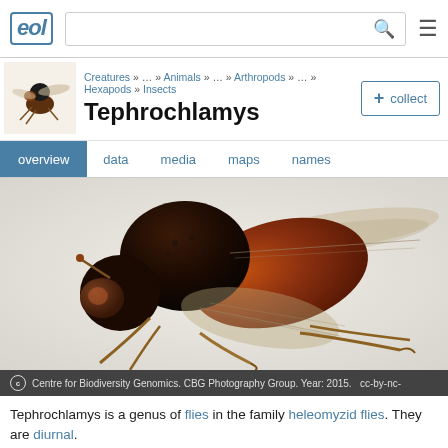EOL | [search bar] | [menu]
Tephrochlamys
Creatures » … » Animals » … » Arthropods » … » Hexapods » Insects
[Figure (photo): Close-up macro photograph of a Tephrochlamys fly specimen showing detailed lateral view with visible wings, legs, compound eye, and hairy thorax/abdomen. Black and brown coloration.]
Centre for Biodiversity Genomics. CBG Photography Group. Year: 2015.   cc-by-nc-
Tephrochlamys is a genus of flies in the family heleomyzid flies. They are diurnal.